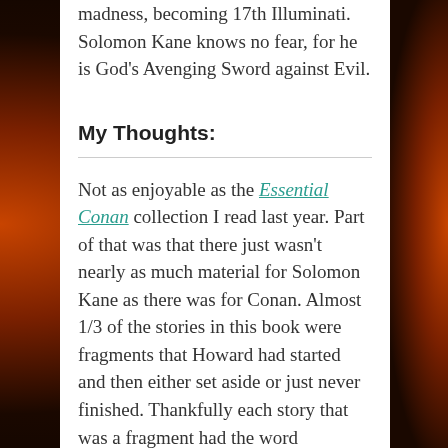madness, becoming 17th Illuminati. Solomon Kane knows no fear, for he is God's Avenging Sword against Evil.
My Thoughts:
Not as enjoyable as the Essential Conan collection I read last year. Part of that was that there just wasn't nearly as much material for Solomon Kane as there was for Conan. Almost 1/3 of the stories in this book were fragments that Howard had started and then either set aside or just never finished. Thankfully each story that was a fragment had the word (fragment), like that, next to the story name. There were also 2 or